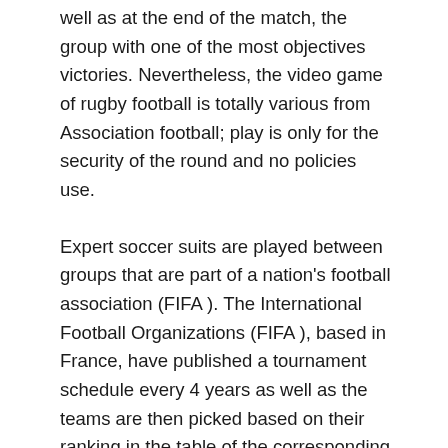well as at the end of the match, the group with one of the most objectives victories. Nevertheless, the video game of rugby football is totally various from Association football; play is only for the security of the round and no policies use.
Expert soccer suits are played between groups that are part of a nation's football association (FIFA ). The International Football Organizations (FIFA ), based in France, have published a tournament schedule every 4 years as well as the teams are then picked based on their ranking in the table of the corresponding association. As well as the groups completing in global events, there are also regional groups based within individual nations. When these teams complete in international competitors, they are normally representing their very own nation as well as since the competition is based on advantage rather than on the outcomes of a suit, qualification for one's own competition is determined by